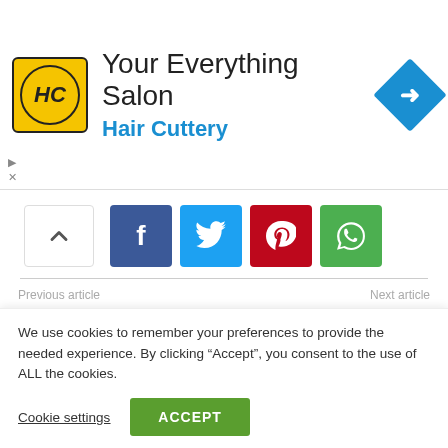[Figure (logo): Hair Cuttery ad banner with HC logo, 'Your Everything Salon' title, blue navigation icon]
[Figure (infographic): Social share bar with up arrow, Facebook, Twitter, Pinterest, WhatsApp buttons]
Previous article
Next article
APPENDICITIS -Meaning, 8 symptoms, causes, types, Diagnosis, and 6 treatments of Appendicitis
Jamb UTME Mass failure - Major Causes of The UTME Mass Failure
We use cookies to remember your preferences to provide the needed experience. By clicking “Accept”, you consent to the use of ALL the cookies.
Cookie settings
ACCEPT